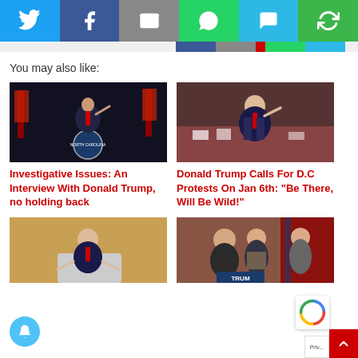[Figure (other): Social media share bar with Twitter, Facebook, Email, WhatsApp, SMS, and Share buttons on colored backgrounds]
You may also like:
[Figure (photo): Donald Trump speaking at a podium with North Carolina seal and US flags in background]
Investigative Issues: An Interview With Donald Trump, no holding back
[Figure (photo): Donald Trump pointing at a rally with crowd in background]
Donald Trump Calls For D.C Protests On Jan 6th: “Be There, Will Be Wild!”
[Figure (photo): Donald Trump speaking at a White House podium with gold curtains]
[Figure (photo): Rudy Giuliani and others at a press conference with Trump campaign signs]